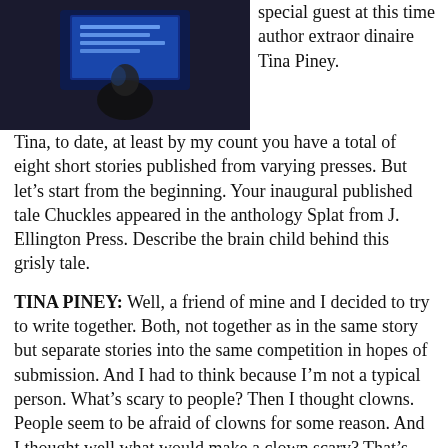[Figure (photo): Dark photograph showing a person in dim blue light, possibly at a computer or screen showing text.]
special guest at this time author extraordinaire Tina Piney. Tina, to date, at least by my count you have a total of eight short stories published from varying presses. But let’s start from the beginning. Your inaugural published tale Chuckles appeared in the anthology Splat from J. Ellington Press. Describe the brain child behind this grisly tale.
TINA PINEY: Well, a friend of mine and I decided to try to write together. Both, not together as in the same story but separate stories into the same competition in hopes of submission. And I had to think because I’m not a typical person. What’s scary to people? Then I thought clowns. People seem to be afraid of clowns for some reason. And I thought well what would make a clown scary? That’s when it came to me the idea of making balloon animals out of dead animal entrails. It kind of progressed from there.
DG: Morbid and grisly. I like it. I think there’s little room for